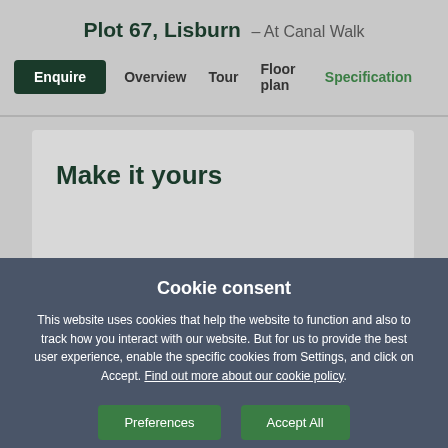Plot 67, Lisburn – At Canal Walk
Enquire  Overview  Tour  Floor plan  Specification
Make it yours
Cookie consent
This website uses cookies that help the website to function and also to track how you interact with our website. But for us to provide the best user experience, enable the specific cookies from Settings, and click on Accept. Find out more about our cookie policy.
Preferences  Accept All